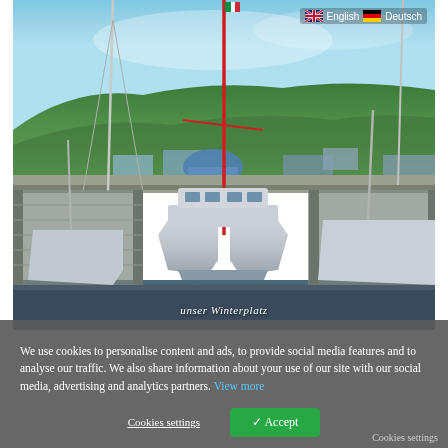[Figure (photo): A catamaran sailboat docked at a marina, viewed from behind, with a red mast. Green forested hills in background, blue sky. Caption reads 'unser Winterplatz'. Language selector with UK and German flags visible top right.]
unser Winterplatz
We use cookies to personalise content and ads, to provide social media features and to analyse our traffic. We also share information about your use of our site with our social media, advertising and analytics partners. View more
Cookies settings
✓ Accept
Cookies settings